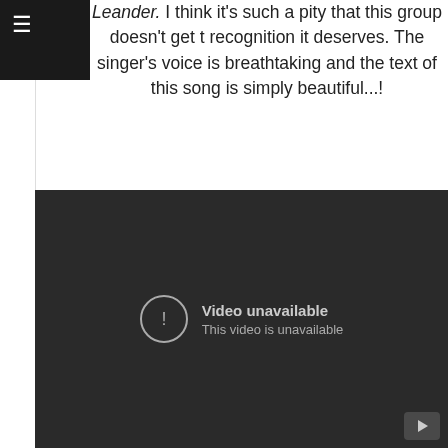≡
Leander. I think it's such a pity that this group doesn't get the recognition it deserves. The singer's voice is breathtaking and the text of this song is simply beautiful...!
[Figure (screenshot): YouTube video player showing 'Video unavailable - This video is unavailable' error message on a dark background]